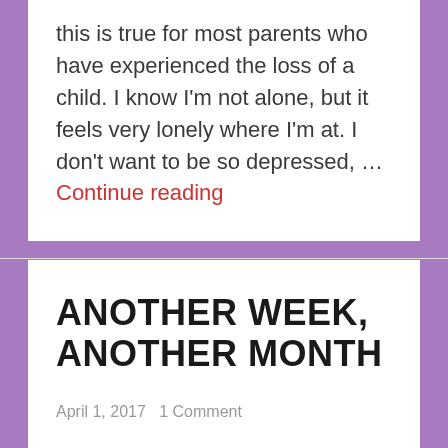this is true for most parents who have experienced the loss of a child. I know I'm not alone, but it feels very lonely where I'm at. I don't want to be so depressed, … Continue reading
ANOTHER WEEK, ANOTHER MONTH
April 1, 2017   1 Comment